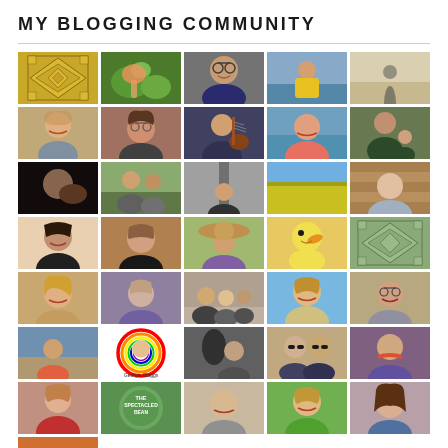MY BLOGGING COMMUNITY
[Figure (photo): Grid of blogger profile photos and avatars arranged in a 5-column by 8-row layout, including portrait photos of various people, a gold geometric quilt pattern avatar, a green pixel quilt avatar, a circular colorful logo labeled 'Georgie Bloggs', and a circular text logo reading 'The Spectacled Bean']